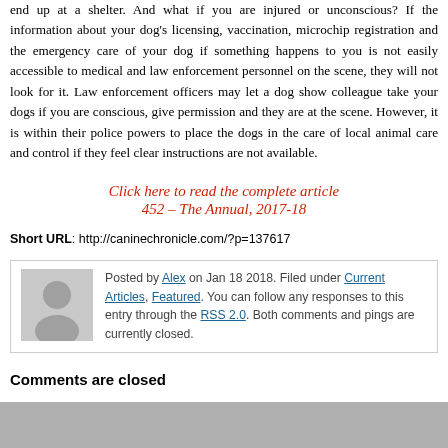end up at a shelter. And what if you are injured or unconscious? If the information about your dog's licensing, vaccination, microchip registration and the emergency care of your dog if something happens to you is not easily accessible to medical and law enforcement personnel on the scene, they will not look for it. Law enforcement officers may let a dog show colleague take your dogs if you are conscious, give permission and they are at the scene. However, it is within their police powers to place the dogs in the care of local animal care and control if they feel clear instructions are not available.
Click here to read the complete article
452 – The Annual, 2017-18
Short URL: http://caninechronicle.com/?p=137617
Posted by Alex on Jan 18 2018. Filed under Current Articles, Featured. You can follow any responses to this entry through the RSS 2.0. Both comments and pings are currently closed.
Comments are closed